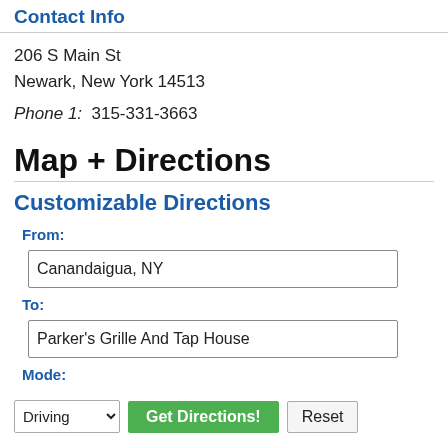Contact Info
206 S Main St
Newark, New York 14513
Phone 1:  315-331-3663
Map + Directions
Customizable Directions
From:
Canandaigua, NY
To:
Parker's Grille And Tap House
Mode:
Driving   Get Directions!   Reset